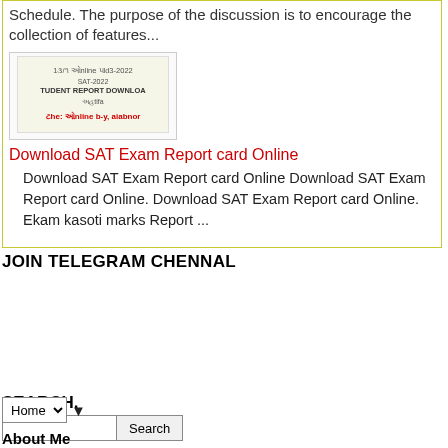Schedule. The purpose of the discussion is to encourage the collection of features...
[Figure (screenshot): Screenshot thumbnail of SAT student report download page in Gujarati]
Download SAT Exam Report card Online  Download SAT Exam Report card Online Download SAT Exam Report card Online. Download SAT Exam Report card Online. Ekam kasoti marks Report ...
JOIN TELEGRAM CHENNAL
[Figure (illustration): Telegram banner with two Telegram icons and text 'Join our Tel']
SEARCH.
Search input box and button
Home ▼
About Me